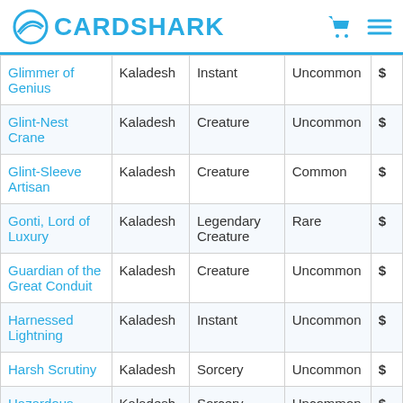CardShark
| Card Name | Set | Type | Rarity | Price |
| --- | --- | --- | --- | --- |
| Glimmer of Genius | Kaladesh | Instant | Uncommon | $ |
| Glint-Nest Crane | Kaladesh | Creature | Uncommon | $ |
| Glint-Sleeve Artisan | Kaladesh | Creature | Common | $ |
| Gonti, Lord of Luxury | Kaladesh | Legendary Creature | Rare | $ |
| Guardian of the Great Conduit | Kaladesh | Creature | Uncommon | $ |
| Harnessed Lightning | Kaladesh | Instant | Uncommon | $ |
| Harsh Scrutiny | Kaladesh | Sorcery | Uncommon | $ |
| Hazardous Conditions | Kaladesh | Sorcery | Uncommon | $ |